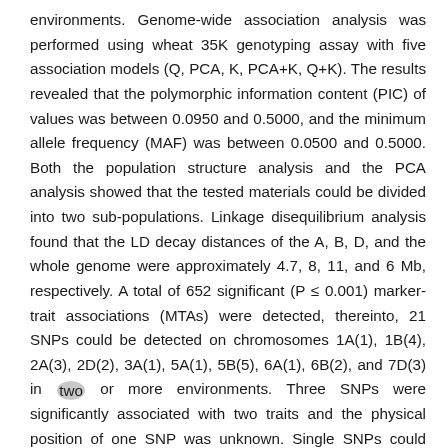environments. Genome-wide association analysis was performed using wheat 35K genotyping assay with five association models (Q, PCA, K, PCA+K, Q+K). The results revealed that the polymorphic information content (PIC) of values was between 0.0950 and 0.5000, and the minimum allele frequency (MAF) was between 0.0500 and 0.5000. Both the population structure analysis and the PCA analysis showed that the tested materials could be divided into two sub-populations. Linkage disequilibrium analysis found that the LD decay distances of the A, B, D, and the whole genome were approximately 4.7, 8, 11, and 6 Mb, respectively. A total of 652 significant (P ≤ 0.001) marker-trait associations (MTAs) were detected, thereinto, 21 SNPs could be detected on chromosomes 1A(1), 1B(4), 2A(3), 2D(2), 3A(1), 5A(1), 5B(5), 6A(1), 6B(2), and 7D(3) in two or more environments. Three SNPs were significantly associated with two traits and the physical position of one SNP was unknown. Single SNPs could explain 7.67 % to